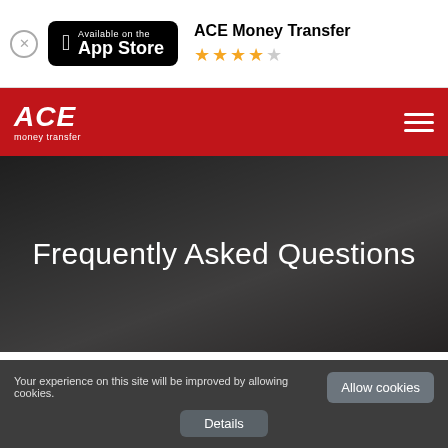[Figure (screenshot): App Store badge with Apple logo showing 'Available on the App Store']
ACE Money Transfer ★★★★☆
[Figure (logo): ACE Money Transfer red navigation bar with logo and hamburger menu]
Frequently Asked Questions
Hi, how can we help you?
Search
Your experience on this site will be improved by allowing cookies.
Allow cookies
Details